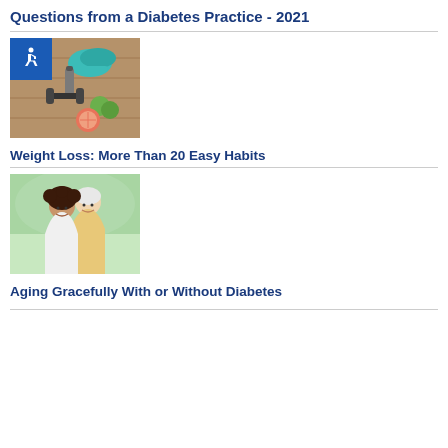Questions from a Diabetes Practice - 2021
[Figure (photo): Accessibility icon badge (wheelchair symbol) overlaid on a photo of fitness items: teal sneakers, a water bottle, fruits (apples, grapefruit), and a dumbbell on a wooden surface.]
Weight Loss: More Than 20 Easy Habits
[Figure (photo): Photo of two smiling women embracing outdoors — a younger woman with curly hair and an older woman with short white hair.]
Aging Gracefully With or Without Diabetes